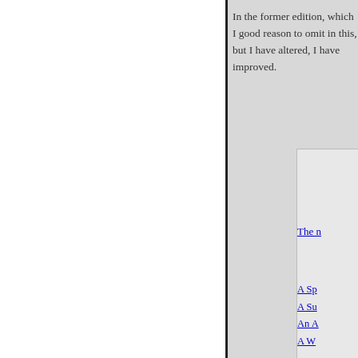In the former edition, which I good reason to omit in this, but I have altered, I have improved.
BIBLICAL PICTURES.
The First Sabbath,
The finding of Moses,
Jacob and Pharaoh,
Jephtha's Vow,